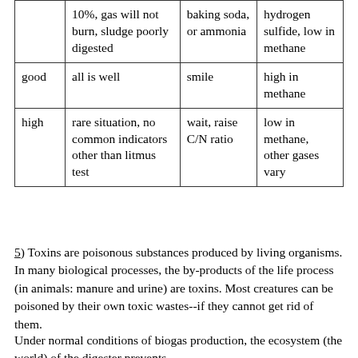|  | 10%, gas will not burn, sludge poorly digested | baking soda, or ammonia | hydrogen sulfide, low in methane |
| good | all is well | smile | high in methane |
| high | rare situation, no common indicators other than litmus test | wait, raise C/N ratio | low in methane, other gases vary |
5) Toxins are poisonous substances produced by living organisms. In many biological processes, the by-products of the life process (in animals: manure and urine) are toxins. Most creatures can be poisoned by their own toxic wastes--if they cannot get rid of them.
Under normal conditions of biogas production, the ecosystem (the world) of the digester prevents